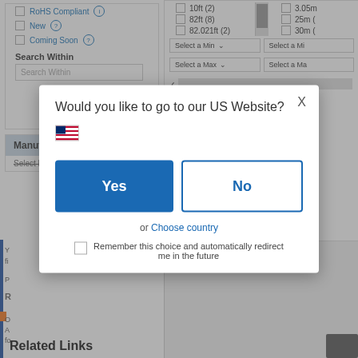[Figure (screenshot): Website filter panel background showing RoHS Compliant, New, Coming Soon checkboxes, Search Within input, Apply button, and Manufacturer section header with Select Manufacturers text. Right side shows length filter options (10ft, 82ft, 82.021ft, 3.05m, 25m, 30m) with Select a Min/Max dropdowns.]
Would you like to go to our US Website?
Yes
No
or Choose country
Remember this choice and automatically redirect me in the future
Related Links